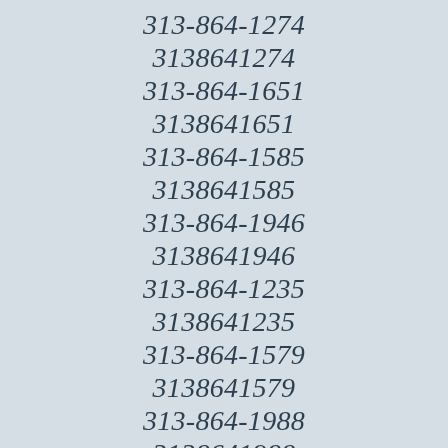313-864-1274
3138641274
313-864-1651
3138641651
313-864-1585
3138641585
313-864-1946
3138641946
313-864-1235
3138641235
313-864-1579
3138641579
313-864-1988
3138641988
313-864-1494
3138641494